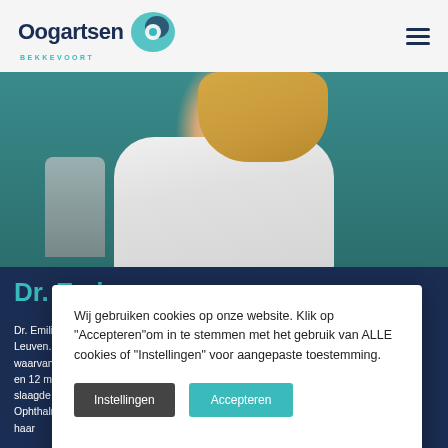[Figure (logo): Oogartsen Bekkevoort logo with teal circular icon and dark navy text]
[Figure (photo): Female doctor with blonde hair in white coat standing next to ophthalmology equipment, teal background]
Dr. Emi…
Dr. Emilie Clae… Leuven. Ze sp… waarvan 6 ma… en 12 maanden… slaagde Dr. Cl… Ophthalmology' examen en ze beëindigde haar
Wij gebruiken cookies op onze website. Klik op "Accepteren"om in te stemmen met het gebruik van ALLE cookies of "Instellingen" voor aangepaste toestemming.